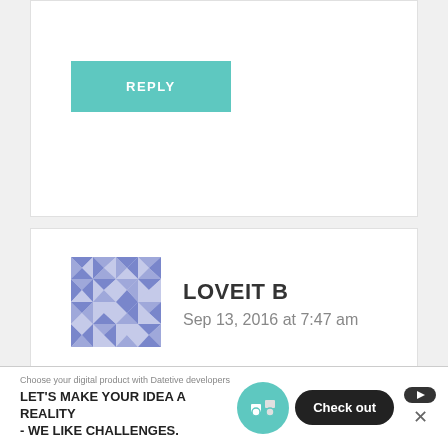[Figure (other): Teal/turquoise REPLY button at top of page (partial comment card)]
[Figure (illustration): Geometric avatar icon for user LOVEIT B — blue/purple mosaic pattern]
LOVEIT B
Sep 13, 2016 at 7:47 am
Just stumbled across your blog a few days ago....absolutely love reading it while drinking my morning coffee. I wish you were my neighbor..
[Figure (other): Teal/turquoise REPLY button for second comment]
[Figure (other): Advertisement banner: LET'S MAKE YOUR IDEA A REALITY - WE LIKE CHALLENGES. with Check out button]